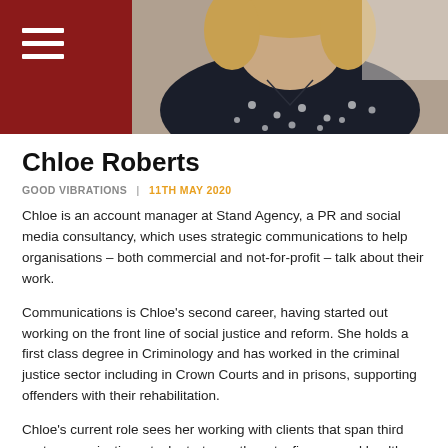[Figure (photo): Photo of Chloe Roberts, a woman wearing a dark navy polka dot blouse, cropped at shoulder/neck level, light background]
Chloe Roberts
GOOD VIBRATIONS  |  11TH MAY 2020
Chloe is an account manager at Stand Agency, a PR and social media consultancy, which uses strategic communications to help organisations – both commercial and not-for-profit – talk about their work.
Communications is Chloe's second career, having started out working on the front line of social justice and reform. She holds a first class degree in Criminology and has worked in the criminal justice sector including in Crown Courts and in prisons, supporting offenders with their rehabilitation.
Chloe's current role sees her working with clients that span third sector organisations, tech start-ups, the arts, finance and health. She is motivated by making a positive impact and driving social change.